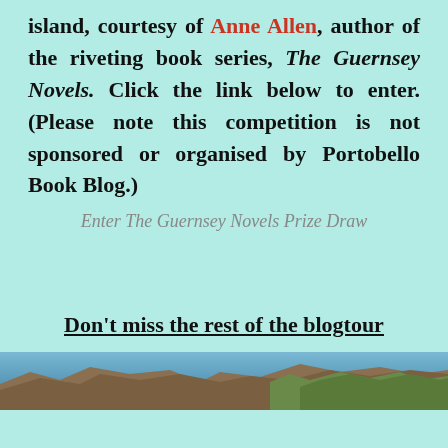island, courtesy of Anne Allen, author of the riveting book series, The Guernsey Novels. Click the link below to enter. (Please note this competition is not sponsored or organised by Portobello Book Blog.)
Enter The Guernsey Novels Prize Draw
Don't miss the rest of the blogtour
[Figure (photo): Coastal landscape photo showing rocky cliffs and sea, partially visible at bottom of page]